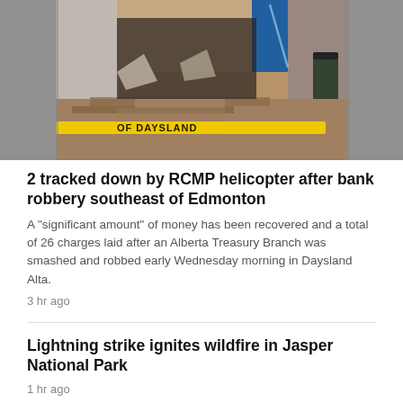[Figure (photo): Photo of a heavily damaged bank building. The front wall is smashed in with rubble and debris scattered on the ground. A yellow barrier bar is visible with 'OF DAYSLAND' text. Blue windows visible on the right side.]
2 tracked down by RCMP helicopter after bank robbery southeast of Edmonton
A "significant amount" of money has been recovered and a total of 26 charges laid after an Alberta Treasury Branch was smashed and robbed early Wednesday morning in Daysland Alta.
3 hr ago
Lightning strike ignites wildfire in Jasper National Park
1 hr ago